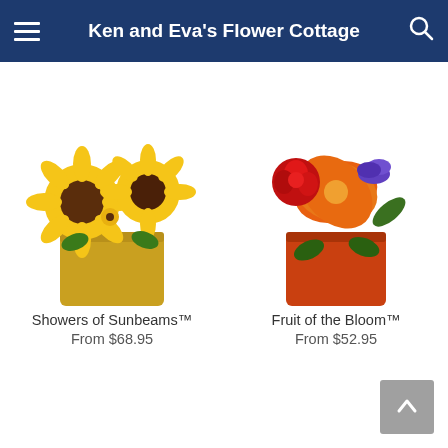Ken and Eva's Flower Cottage
FREE Next Day Delivery ends in: 18:29:06
[Figure (photo): Sunflower arrangement in a yellow square vase - Showers of Sunbeams]
Showers of Sunbeams™
From $68.95
[Figure (photo): Mixed flower arrangement with orange lily, red rose and purple flowers in an orange square vase - Fruit of the Bloom]
Fruit of the Bloom™
From $52.95